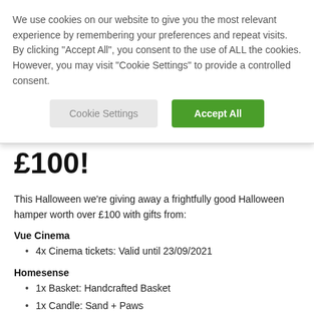We use cookies on our website to give you the most relevant experience by remembering your preferences and repeat visits. By clicking "Accept All", you consent to the use of ALL the cookies. However, you may visit "Cookie Settings" to provide a controlled consent.
[Figure (screenshot): Cookie consent banner with two buttons: 'Cookie Settings' (grey) and 'Accept All' (green)]
£100!
This Halloween we're giving away a frightfully good Halloween hamper worth over £100 with gifts from:
Vue Cinema
4x Cinema tickets: Valid until 23/09/2021
Homesense
1x Basket: Handcrafted Basket
1x Candle: Sand + Paws